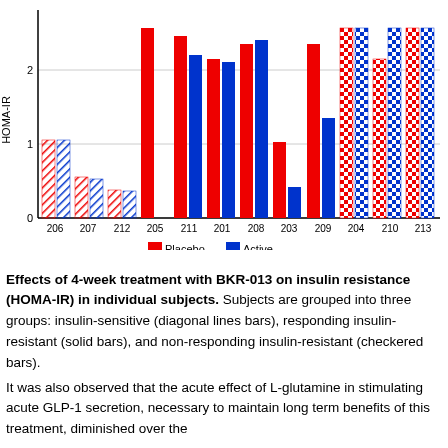[Figure (grouped-bar-chart): HOMA-IR by subject]
Effects of 4-week treatment with BKR-013 on insulin resistance (HOMA-IR) in individual subjects. Subjects are grouped into three groups: insulin-sensitive (diagonal lines bars), responding insulin-resistant (solid bars), and non-responding insulin-resistant (checkered bars).
It was also observed that the acute effect of L-glutamine in stimulating acute GLP-1 secretion, necessary to maintain long term benefits of this treatment, diminished over the